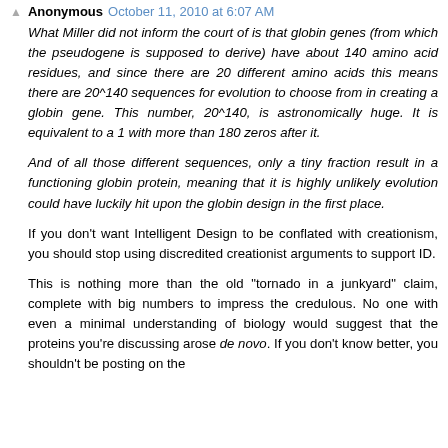Anonymous October 11, 2010 at 6:07 AM
What Miller did not inform the court of is that globin genes (from which the pseudogene is supposed to derive) have about 140 amino acid residues, and since there are 20 different amino acids this means there are 20^140 sequences for evolution to choose from in creating a globin gene. This number, 20^140, is astronomically huge. It is equivalent to a 1 with more than 180 zeros after it.
And of all those different sequences, only a tiny fraction result in a functioning globin protein, meaning that it is highly unlikely evolution could have luckily hit upon the globin design in the first place.
If you don't want Intelligent Design to be conflated with creationism, you should stop using discredited creationist arguments to support ID.
This is nothing more than the old "tornado in a junkyard" claim, complete with big numbers to impress the credulous. No one with even a minimal understanding of biology would suggest that the proteins you're discussing arose de novo. If you don't know better, you shouldn't be posting on the